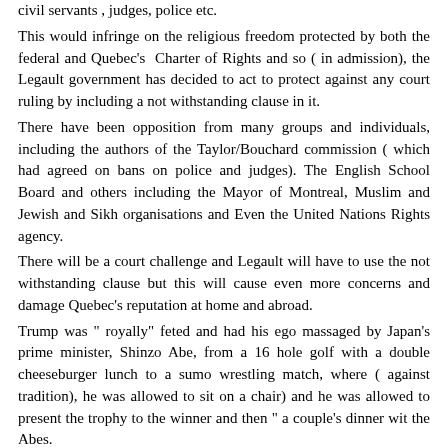civil servants , judges, police etc.
This would infringe on the religious freedom protected by both the federal and Quebec's  Charter of Rights and so ( in admission), the Legault government has decided to act to protect against any court ruling by including a not withstanding clause in it.
There have been opposition from many groups and individuals, including the authors of the Taylor/Bouchard commission ( which had agreed on bans on police and judges). The English School Board and others including the Mayor of Montreal, Muslim and Jewish and Sikh organisations and Even the United Nations Rights agency.
There will be a court challenge and Legault will have to use the not withstanding clause but this will cause even more concerns and damage Quebec's reputation at home and abroad.
Trump was " royally" feted and had his ego massaged by Japan's prime minister, Shinzo Abe, from a 16 hole golf with a double cheeseburger lunch to a sumo wrestling match, where ( against tradition), he was allowed to sit on a chair) and he was allowed to present the trophy to the winner and then " a couple's dinner wit the Abes.
On Monday he will meet the newly crowned emperor Narehito and will